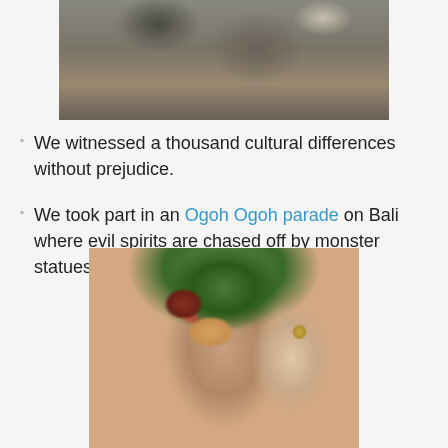[Figure (photo): Photo of a person riding an elephant near water, viewed from behind/side. The elephant is large and grey, partially submerged.]
We witnessed a thousand cultural differences without prejudice.
We took part in an Ogoh Ogoh parade on Bali where evil spirits are chased off by monster statues.
[Figure (photo): Photo of an Ogoh Ogoh monster statue from Bali — a frightening figure with open mouth, elaborate black hair with flowers, gold necklace, and an outstretched hand. Green trees visible in background.]